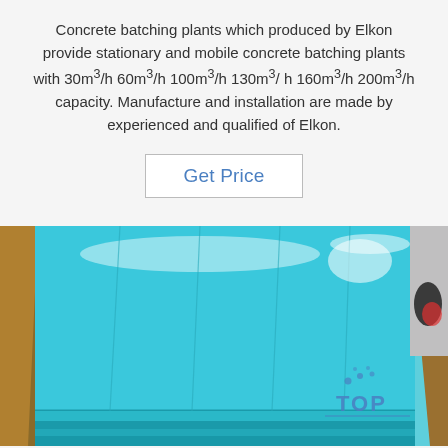Concrete batching plants which produced by Elkon provide stationary and mobile concrete batching plants with 30m³/h 60m³/h 100m³/h 130m³/ h 160m³/h 200m³/h capacity. Manufacture and installation are made by experienced and qualified of Elkon.
Get Price
[Figure (photo): Stacked blue-coated metal sheets (aluminum or steel panels with protective blue film) photographed from above at an angle, showing multiple layers. A watermark reading 'TOP' with a logo is visible in the lower right corner.]